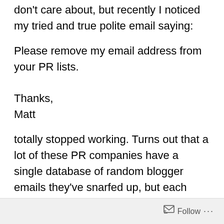don't care about, but recently I noticed my tried and true polite email saying:
Please remove my email address from your PR lists.

Thanks,
Matt
totally stopped working. Turns out that a lot of these PR companies have a single database of random blogger emails they've snarfed up, but each employee seems to maintain their own personal list. When I ask Alice at example.com PR to remove me, I noticed a week later I got
Follow ...